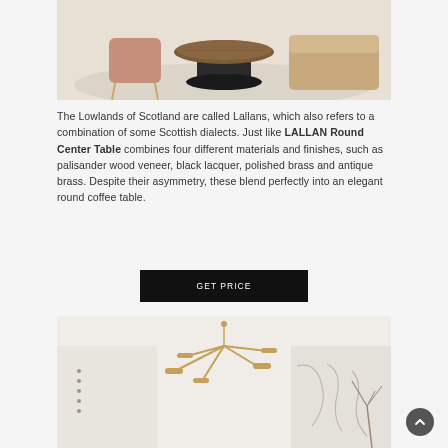[Figure (photo): Interior room photo showing a round walnut coffee table with dark base pedestal, flanked by a pink velvet chair and a tan/camel sofa on a light rug.]
The Lowlands of Scotland are called Lallans, which also refers to a combination of some Scottish dialects. Just like LALLAN Round Center Table combines four different materials and finishes, such as palisander wood veneer, black lacquer, polished brass and antique brass. Despite their asymmetry, these blend perfectly into an elegant round coffee table.
GET PRICE
[Figure (photo): Interior room photo showing a modern gold/brass geometric pendant light fixture with multiple arms and cylindrical shades, hanging in a white room with abstract line art wall prints and dried branch arrangements.]